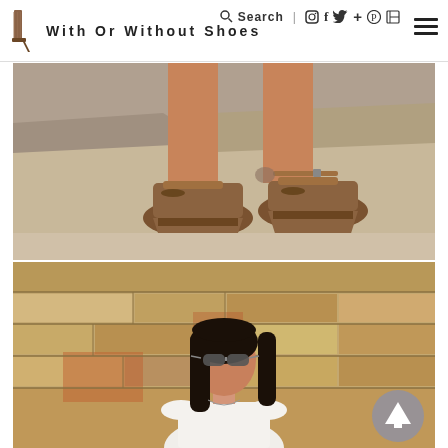Search | With Or Without Shoes
[Figure (photo): Close-up of woman's feet wearing brown leather wedge sandals with ankle strap, standing on sandy/rocky ground outdoors]
[Figure (photo): Young woman with long dark hair wearing sunglasses and white top, standing in front of a stone wall outdoors]